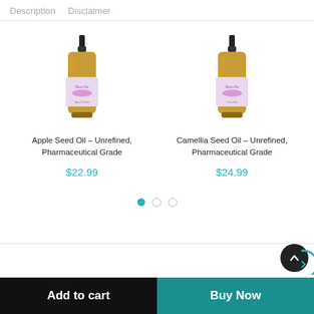Description   Disclaimer
[Figure (photo): Amber dropper bottle with purple label - Apple Seed Oil product]
Apple Seed Oil – Unrefined, Pharmaceutical Grade
$22.99
[Figure (photo): Amber dropper bottle with purple label - Camellia Seed Oil product]
Camellia Seed Oil – Unrefined, Pharmaceutical Grade
$24.99
Add to cart
Buy Now